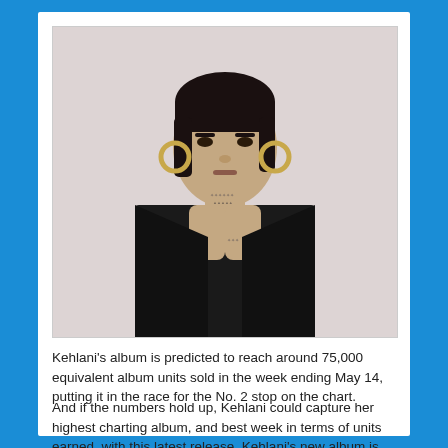[Figure (photo): A woman with tattoos on her neck and hands, wearing a black blazer, posing against a light pinkish-grey background. She has large hoop earrings and her dark hair pulled back.]
Kehlani's album is predicted to reach around 75,000 equivalent album units sold in the week ending May 14, putting it in the race for the No. 2 stop on the chart.
And if the numbers hold up, Kehlani could capture her highest charting album, and best week in terms of units earned, with this latest release. Kehlani's new album is supported by a small range of merchandise/album bundles.